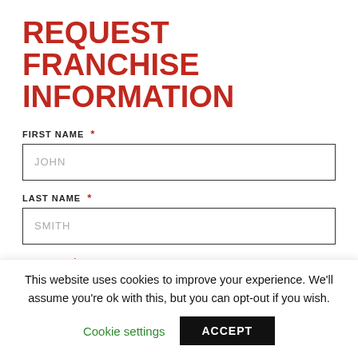REQUEST FRANCHISE INFORMATION
FIRST NAME *
JOHN
LAST NAME *
SMITH
PHONE # *
This website uses cookies to improve your experience. We'll assume you're ok with this, but you can opt-out if you wish.
Cookie settings
ACCEPT